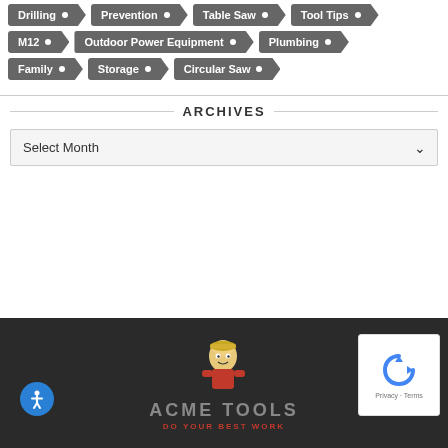Drilling
Prevention
Table Saw
Tool Tips
M12
Outdoor Power Equipment
Plumbing
Family
Storage
Circular Saw
ARCHIVES
Select Month
[Figure (logo): Acme Tools logo with mascot and tagline DO YOUR BEST WORK]
[Figure (infographic): reCAPTCHA widget showing Privacy and Terms]
[Figure (infographic): Accessibility button - blue circle with person icon]